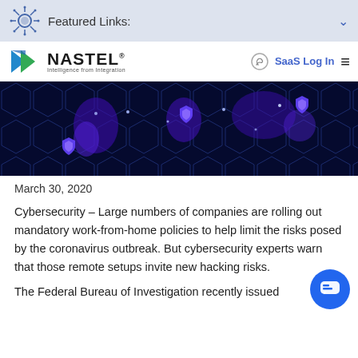Featured Links:
[Figure (logo): Nastel Technologies logo with arrow icon and tagline 'Intelligence from Integration']
[Figure (photo): Dark blue hexagonal network world map with glowing shield icons representing cybersecurity]
March 30, 2020
Cybersecurity – Large numbers of companies are rolling out mandatory work-from-home policies to help limit the risks posed by the coronavirus outbreak. But cybersecurity experts warn that those remote setups invite new hacking risks.
The Federal Bureau of Investigation recently issued